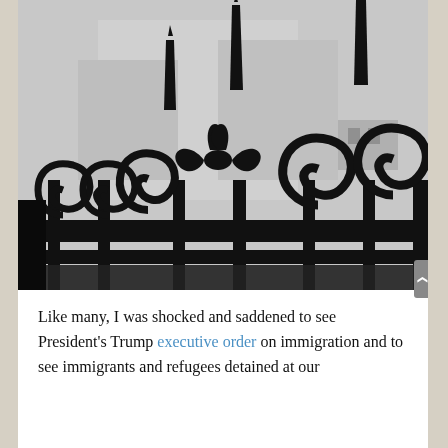[Figure (photo): Black and white close-up photograph of ornate wrought iron fence/gate with decorative spear tips and scrollwork spirals against a white wall background.]
Like many, I was shocked and saddened to see President's Trump executive order on immigration and to see immigrants and refugees detained at our